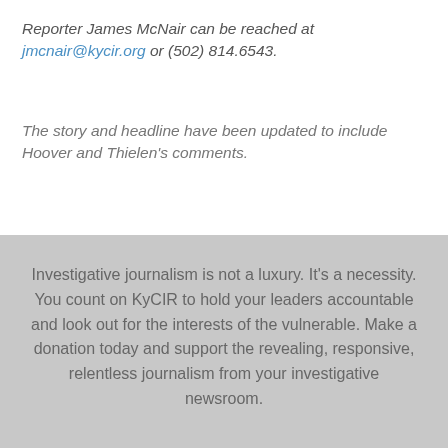Reporter James McNair can be reached at jmcnair@kycir.org or (502) 814.6543.
The story and headline have been updated to include Hoover and Thielen's comments.
Investigative journalism is not a luxury. It's a necessity. You count on KyCIR to hold your leaders accountable and look out for the interests of the vulnerable. Make a donation today and support the revealing, responsive, relentless journalism from your investigative newsroom.